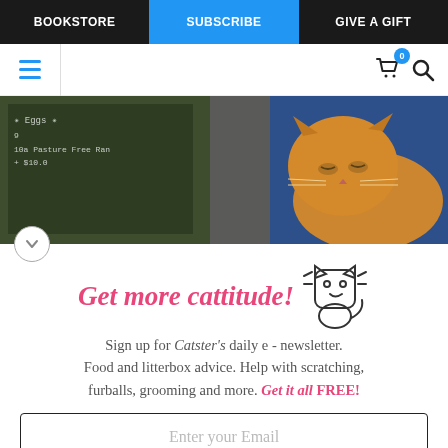BOOKSTORE | SUBSCRIBE | GIVE A GIFT
[Figure (screenshot): Navigation bar with hamburger menu icon, shopping cart with badge showing 0, and search icon]
[Figure (photo): Hero image of an orange/ginger cat resting near a chalkboard with 'Eggs' written on it, blue door in background]
Get more cattitude!
Sign up for Catster's daily e - newsletter. Food and litterbox advice. Help with scratching, furballs, grooming and more. Get it all FREE!
Enter your Email
YES! SIGN ME UP